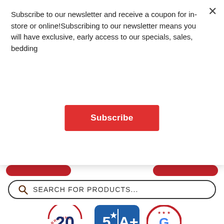Subscribe to our newsletter and receive a coupon for in-store or online!Subscribing to our newsletter means you will have exclusive, early access to our specials, sales, bedding
Subscribe
SEARCH FOR PRODUCTS...
[Figure (logo): Celebrating 20 Years in Business badge]
[Figure (logo): 5 Star Reviews A+ Ratings badge]
[Figure (logo): Google Five Star Rating badge]
17 ULTIMATE SLEEP HACKS